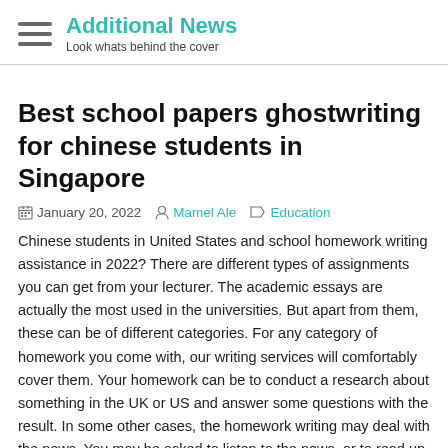Additional News — Look whats behind the cover
Best school papers ghostwriting for chinese students in Singapore
January 20, 2022  Mamel Ale  Education
Chinese students in United States and school homework writing assistance in 2022? There are different types of assignments you can get from your lecturer. The academic essays are actually the most used in the universities. But apart from them, these can be of different categories. For any category of homework you come with, our writing services will comfortably cover them. Your homework can be to conduct a research about something in the UK or US and answer some questions with the result. In some other cases, the homework writing may deal with the news. You may be asked to listen to the news, or to read up a news journal and come up with a report on the information in the news. This is one of the most used in the universities. If you have such in Canada, our homework writing